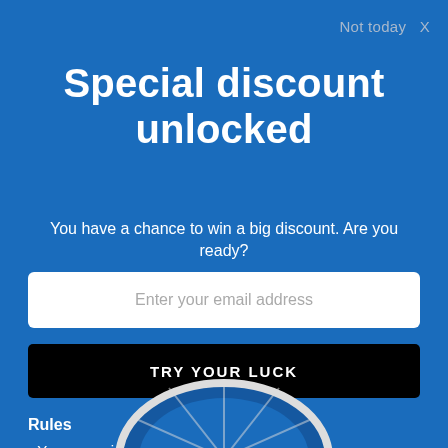Not today  X
Special discount unlocked
You have a chance to win a big discount. Are you ready?
Enter your email address
TRY YOUR LUCK
Rules
You can spin the wheel only once.
If you win, you can claim your coupon!
[Figure (illustration): Bottom portion of a spin wheel visible at the bottom of the modal]